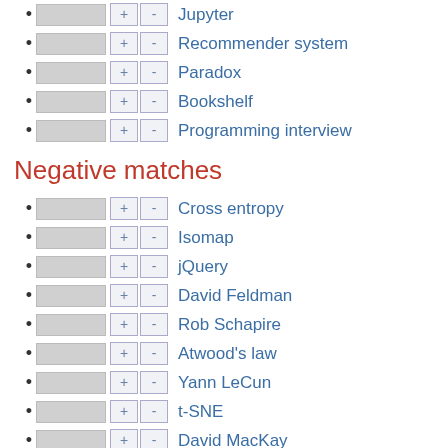Jupyter
Recommender system
Paradox
Bookshelf
Programming interview
Negative matches
Cross entropy
Isomap
jQuery
David Feldman
Rob Schapire
Atwood's law
Yann LeCun
t-SNE
David MacKay